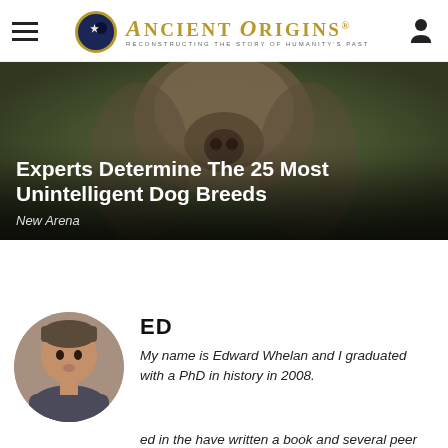Ancient Origins – Reconstructing the story of humanity's past
[Figure (photo): Close-up photograph of a dog's wrinkled face from above, set against a blurred outdoor background. Hero image for article.]
Experts Determine The 25 Most Unintelligent Dog Breeds
New Arena
[Figure (photo): Circular cropped headshot of a man (Edward Whelan), author avatar]
ED
My name is Edward Whelan and I graduated with a PhD in history in 2008. ... ed in the ... have written a book and several peer reviewed journal articles. At present I am a... Read More
[Figure (photo): Advertisement overlay showing a blonde woman thumbnail with text: Faith Hill's Daughter Is Probably The Most Stunning Ever – Noteably]
Faith Hill's Daughter Is Probably The Most Stunning Ever